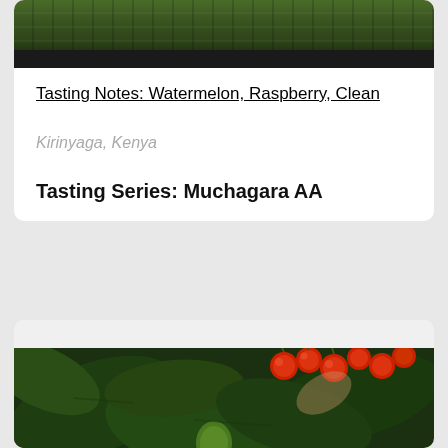[Figure (photo): Top portion of a coffee farm image showing green foliage and dark strip at bottom, partially cropped]
Tasting Notes: Watermelon, Raspberry, Clean
Kirinyaga, Kenya
Tasting Series: Muchagara AA
[Figure (photo): Close-up photo of coffee plant with dark green leaves and bright red coffee cherries, with a green unripe cherry visible at bottom center]